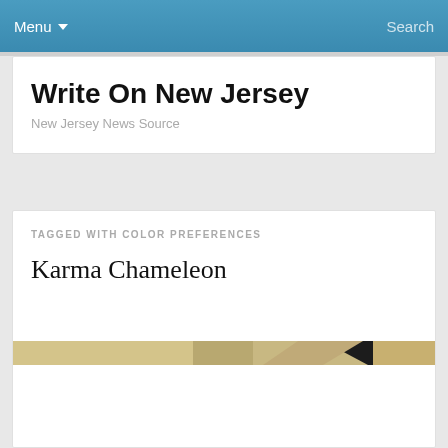Menu  Search
Write On New Jersey
New Jersey News Source
TAGGED WITH COLOR PREFERENCES
Karma Chameleon
[Figure (photo): Horizontal strip image showing a tan/beige and black striped pattern, likely an animal or textile close-up]